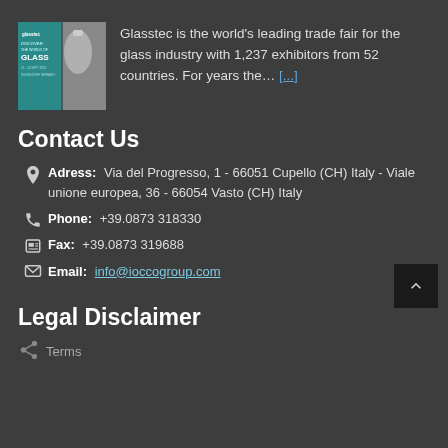[Figure (photo): Glasstec trade fair promotional image with teal background and text 'Discover The World of Glass']
Glasstec is the world's leading trade fair for the glass industry with 1,237 exhibitors from 52 countries. For years the… [...]
Contact Us
Adress: Via del Progresso, 1 - 66051 Cupello (CH) Italy - Viale unione europea, 36 - 66054 Vasto (CH) Italy
Phone: +39.0873 318330
Fax: +39.0873 319688
Email: info@ioccogroup.com
Legal Disclaimer
Terms